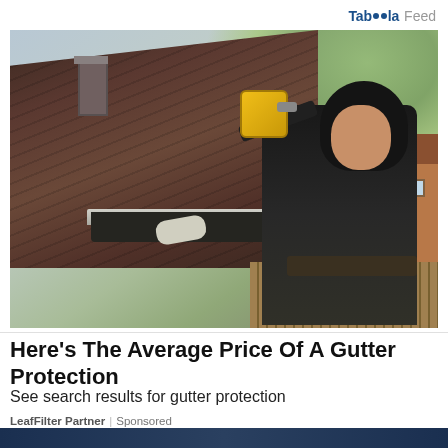Taboola Feed
[Figure (photo): A worker in a black hoodie installing or inspecting a gutter on a residential rooftop, holding a power drill, with trees and houses visible in the background.]
Here's The Average Price Of A Gutter Protection
See search results for gutter protection
LeafFilter Partner | Sponsored